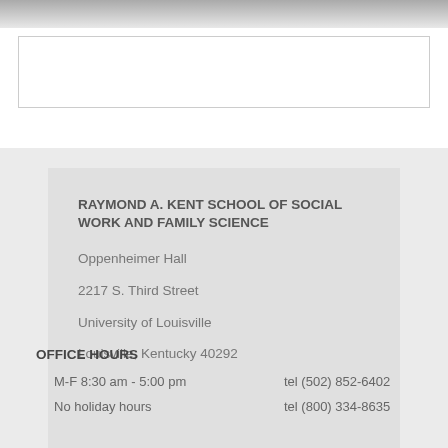[Figure (other): Top page shadow gradient bar]
[Figure (other): Search input box with border]
RAYMOND A. KENT SCHOOL OF SOCIAL WORK AND FAMILY SCIENCE
Oppenheimer Hall
2217 S. Third Street
University of Louisville
Louisville, Kentucky 40292
OFFICE HOURS
M-F 8:30 am - 5:00 pm
tel (502) 852-6402
No holiday hours
tel (800) 334-8635